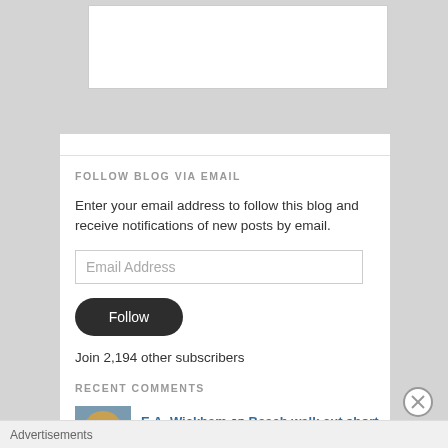[Figure (screenshot): Top portion of a blog sidebar widget with gray background and white inner box visible at top]
FOLLOW BLOG VIA EMAIL
Enter your email address to follow this blog and receive notifications of new posts by email.
[Figure (screenshot): Email address input field with placeholder text 'Email Address']
[Figure (screenshot): Dark rounded Follow button]
Join 2,194 other subscribers
RECENT COMMENTS
E.A. Wickham on Beach walk cut short
[Figure (photo): Profile photo of a woman with blonde hair, smiling]
Advertisements